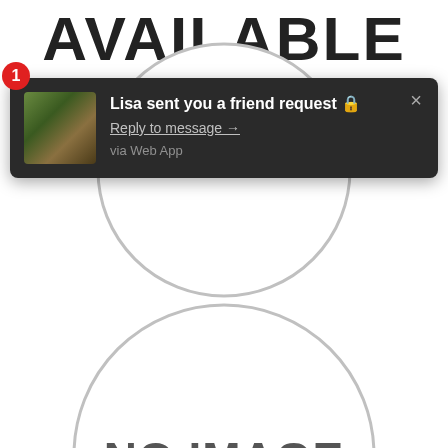AVAILABLE
[Figure (screenshot): A dark notification popup overlay showing a friend request notification from 'Lisa' with a small profile photo thumbnail, bold text 'Lisa sent you a friend request', a 'Reply to message →' link, 'via Web App' source text, and an × close button. A red badge with '1' appears at the top-left corner.]
[Figure (other): A large circular profile placeholder (grey circle outline) in the upper half of the page behind the notification.]
[Figure (other): A large circular placeholder with 'NO IMAGE' text in grey in the lower half of the page.]